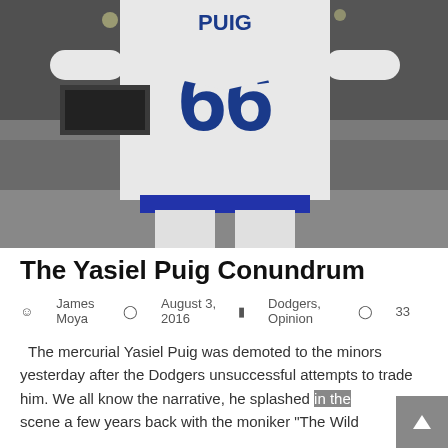[Figure (photo): Black and white photo of Yasiel Puig wearing Dodgers jersey number 66, seen from behind, arms raised, with a stadium crowd in the background.]
The Yasiel Puig Conundrum
James Moya  August 3, 2016  Dodgers, Opinion  33
The mercurial Yasiel Puig was demoted to the minors yesterday after the Dodgers unsuccessful attempts to trade him. We all know the narrative, he splashed in the scene a few years back with the moniker "The Wild